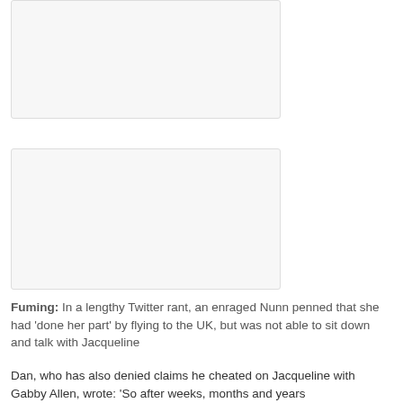[Figure (photo): Top image placeholder, partially visible at top of page]
[Figure (photo): Second image placeholder below the first]
Fuming: In a lengthy Twitter rant, an enraged Nunn penned that she had ‘done her part’ by flying to the UK, but was not able to sit down and talk with Jacqueline
Dan, who has also denied claims he cheated on Jacqueline with Gabby Allen, wrote: ‘So after weeks, months and years